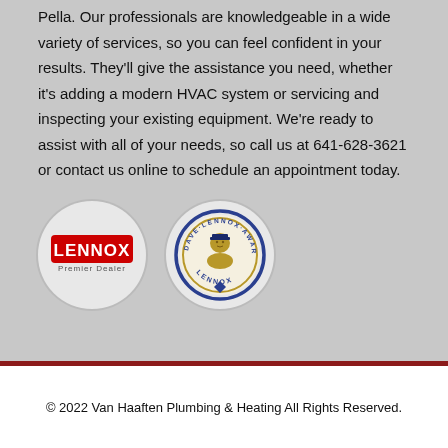Pella. Our professionals are knowledgeable in a wide variety of services, so you can feel confident in your results. They'll give the assistance you need, whether it's adding a modern HVAC system or servicing and inspecting your existing equipment. We're ready to assist with all of your needs, so call us at 641-628-3621 or contact us online to schedule an appointment today.
[Figure (logo): Lennox Premier Dealer circular logo]
[Figure (logo): Dave Lennox Award circular badge logo]
© 2022 Van Haaften Plumbing & Heating All Rights Reserved.